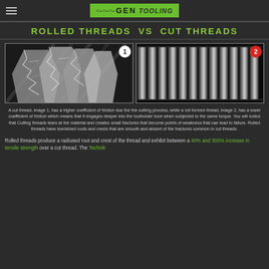GEN TOOLING
ROLLED THREADS VS CUT THREADS
[Figure (photo): Two microscopic images side by side. Image 1 (labeled with white badge '1'): close-up SEM image of a cut thread showing rough, jagged, fractured surface. Image 2 (labeled with red badge '2'): close-up SEM image of a rolled thread showing smooth, uniform, regular thread profile.]
A cut thread, image 1, has a higher coefficient of friction due the the cutting process, while a roll formed thread, image 2, has a lower coefficient of friction which means that it engages deeper into the toolholder bore when subjected to the same torque. You will notice that Cutting threads tears at the material and creates small fractures that become points of weakness that can lead to failure. Rolled threads have burnished roots and crests that are smooth and absent of the fractures common in cut threads.
Rolled threads produce a radiused root and crest of the thread and exhibit between a 40% and 300% increase in tensile strength over a cut thread. The Technik...